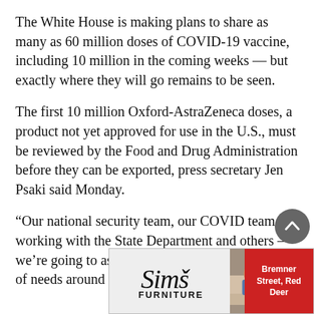The White House is making plans to share as many as 60 million doses of COVID-19 vaccine, including 10 million in the coming weeks — but exactly where they will go remains to be seen.
The first 10 million Oxford-AstraZeneca doses, a product not yet approved for use in the U.S., must be reviewed by the Food and Drug Administration before they can be exported, press secretary Jen Psaki said Monday.
“Our national security team, our COVID team, working with the State Department and others — we’re going to assess a range of requests, a range of needs around the world,” she said.
[Figure (other): Advertisement banner for Sims Furniture with logo, photo of two people on a couch, and address text: Bremner Street, Red Deer]